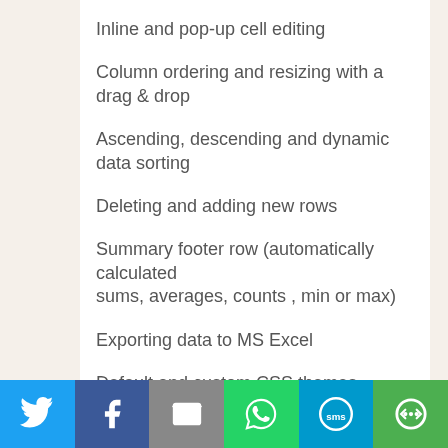Inline and pop-up cell editing
Column ordering and resizing with a drag & drop
Ascending, descending and dynamic data sorting
Deleting and adding new rows
Summary footer row (automatically calculated sums, averages, counts , min or max)
Exporting data to MS Excel
Default and custom CSS themes
Complex filtering
Page size personalization
Sorting personalization
Column width personalization
[Figure (infographic): Social sharing footer bar with icons: Twitter (blue), Facebook (dark blue), Email (grey), WhatsApp (green), SMS (blue), More (green)]